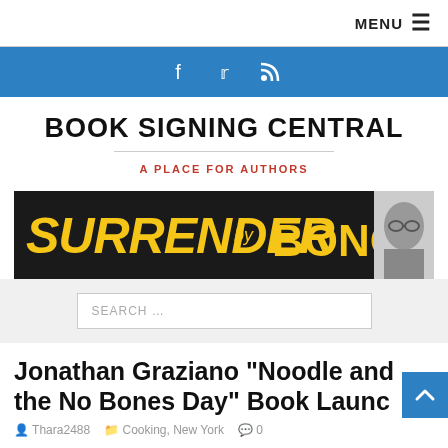MENU
[Figure (other): Social media icons bar: Facebook, Twitter, RSS feed icons on blue background]
BOOK SIGNING CENTRAL
A PLACE FOR AUTHORS
[Figure (other): Banner image: 'SURRENDER by BONO' in yellow graffiti-style text on black background with photo of Bono]
[Figure (other): Search bar with placeholder text: SEARCH ...]
Jonathan Graziano “Noodle and the No Bones Day” Book Launch
Thara2488   Cooking, New York   0